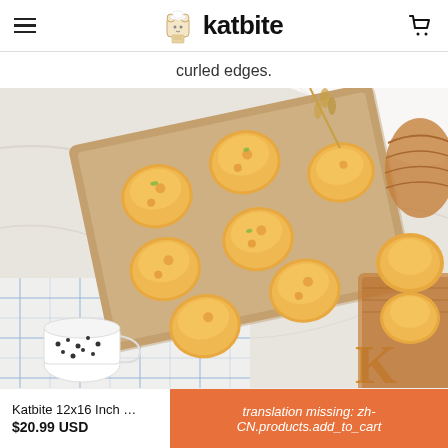katbite
curled edges.
[Figure (photo): A baking tray lined with parchment paper holding 7 golden baked puff pastry buns, photographed from above on a marble surface with a blue plaid cloth, a white dotted cup, and a golden 'K' letter visible.]
Katbite 12x16 Inch …
$20.99 USD
translation missing: zh-CN.products.add_to_cart